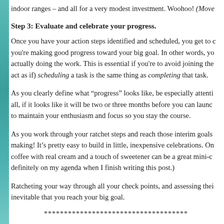indoor ranges – and all for a very modest investment. Woohoo! (Move
Step 3: Evaluate and celebrate your progress.
Once you have your action steps identified and scheduled, you get to check you're making good progress toward your big goal. In other words, you're actually doing the work. This is essential if you're to avoid joining the act as if) scheduling a task is the same thing as completing that task.
As you clearly define what “progress” looks like, be especially attentive all, if it looks like it will be two or three months before you can launch to maintain your enthusiasm and focus so you stay the course.
As you work through your ratchet steps and reach those interim goals making! It’s pretty easy to build in little, inexpensive celebrations. On coffee with real cream and a touch of sweetener can be a great mini-c definitely on my agenda when I finish writing this post.)
Ratcheting your way through all your check points, and assessing their inevitable that you reach your big goal.
************************************